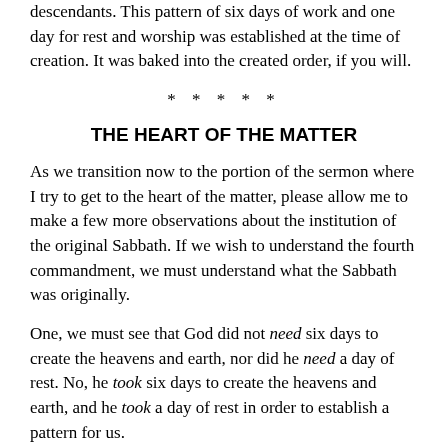Adam and Eve were to honor the Sabbath day, along with all of their descendants. This pattern of six days of work and one day for rest and worship was established at the time of creation. It was baked into the created order, if you will.
*****
THE HEART OF THE MATTER
As we transition now to the portion of the sermon where I try to get to the heart of the matter, please allow me to make a few more observations about the institution of the original Sabbath. If we wish to understand the fourth commandment, we must understand what the Sabbath was originally.
One, we must see that God did not need six days to create the heavens and earth, nor did he need a day of rest. No, he took six days to create the heavens and earth, and he took a day of rest in order to establish a pattern for us.
Two, when the text says, “So God blessed the seventh day and made it holy...” (Genesis 2:3, ESV) we are to see that he blessed the day and made it holy, not for himself, but for us. All of the days of the week are, in and of themselves, the same. The sun rises and sets in the same manner on each day of the week. Time passes in the same way. The winds blow, the clouds move along, the birds sing, and the